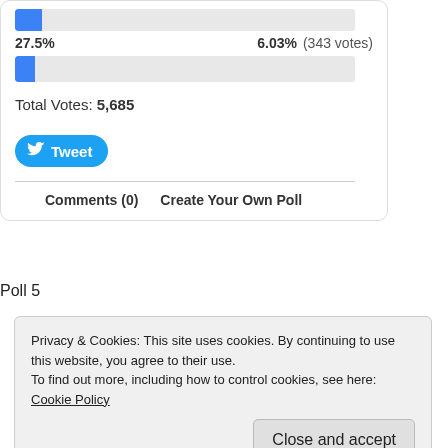27.5%    6.03%  (343 votes)
Total Votes: 5,685
[Figure (other): Twitter Tweet button]
Comments (0)   Create Your Own Poll
Poll 5
Privacy & Cookies: This site uses cookies. By continuing to use this website, you agree to their use.
To find out more, including how to control cookies, see here: Cookie Policy
Close and accept